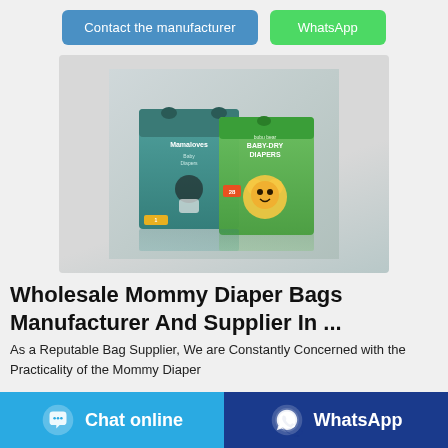[Figure (other): Two buttons: 'Contact the manufacturer' (blue) and 'WhatsApp' (green)]
[Figure (photo): Product photo showing two baby diaper packages: 'Mamaloves Baby Diapers' and 'bubu bear BABY-DRY DIAPERS' on a reflective surface]
Wholesale Mommy Diaper Bags Manufacturer And Supplier In ...
As a Reputable Bag Supplier, We are Constantly Concerned with the Practicality of the Mommy Diaper
[Figure (other): Bottom bar with 'Chat online' (light blue) and 'WhatsApp' (dark blue) buttons]